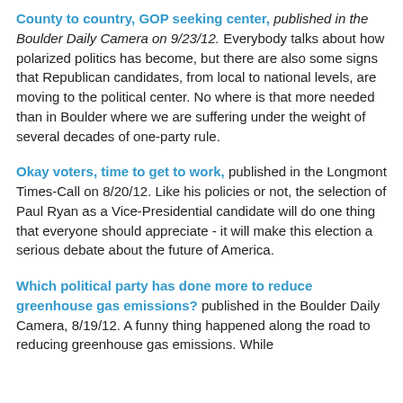County to country, GOP seeking center, published in the Boulder Daily Camera on 9/23/12. Everybody talks about how polarized politics has become, but there are also some signs that Republican candidates, from local to national levels, are moving to the political center. No where is that more needed than in Boulder where we are suffering under the weight of several decades of one-party rule.
Okay voters, time to get to work, published in the Longmont Times-Call on 8/20/12. Like his policies or not, the selection of Paul Ryan as a Vice-Presidential candidate will do one thing that everyone should appreciate - it will make this election a serious debate about the future of America.
Which political party has done more to reduce greenhouse gas emissions? published in the Boulder Daily Camera, 8/19/12. A funny thing happened along the road to reducing greenhouse gas emissions. While